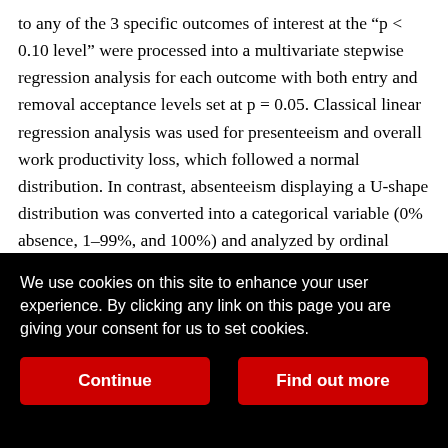to any of the 3 specific outcomes of interest at the “p < 0.10 level” were processed into a multivariate stepwise regression analysis for each outcome with both entry and removal acceptance levels set at p = 0.05. Classical linear regression analysis was used for presenteeism and overall work productivity loss, which followed a normal distribution. In contrast, absenteeism displaying a U-shape distribution was converted into a categorical variable (0% absence, 1–99%, and 100%) and analyzed by ordinal logistic regression. Results were reported as regression coefficients with standard error. The quality and strength of the regression was assessed by the multiple coefficient of determination R² and by the area under the curve (AUC) for ordinal logistic regression. Statistical significance was set at the 5% critical level (p < 0.05). All calculations were done
We use cookies on this site to enhance your user experience. By clicking any link on this page you are giving your consent for us to set cookies.